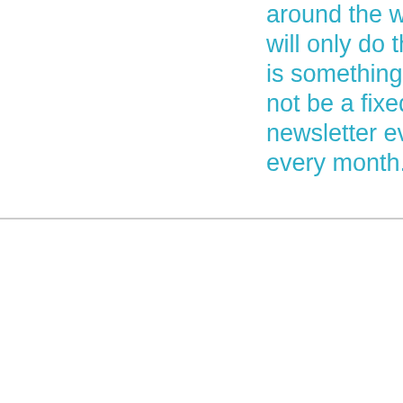around the world, but we will only do that when there is something to tell. So it will not be a fixed-scheduled-newsletter every week or every month. It will...
We use strictly necessary cookies to allow you to move around the website and use its features. Please see Settings for further information. By clicking “Accept”, you consent to the use of these cookies.
CCPA Notice: we do not sell any personal inform…